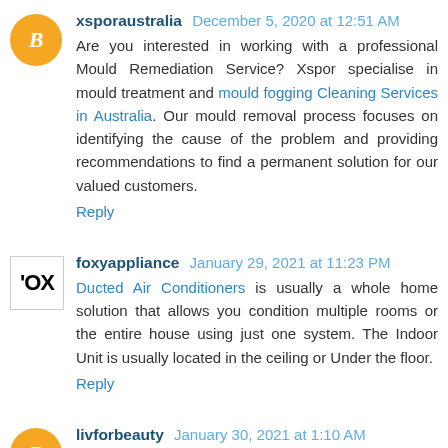xsporaustralia December 5, 2020 at 12:51 AM
Are you interested in working with a professional Mould Remediation Service? Xspor specialise in mould treatment and mould fogging Cleaning Services in Australia. Our mould removal process focuses on identifying the cause of the problem and providing recommendations to find a permanent solution for our valued customers.
Reply
foxyappliance January 29, 2021 at 11:23 PM
Ducted Air Conditioners is usually a whole home solution that allows you condition multiple rooms or the entire house using just one system. The Indoor Unit is usually located in the ceiling or Under the floor.
Reply
livforbeauty January 30, 2021 at 1:10 AM
Liv for beauty and soul is the first Holistic Beauty Salon with